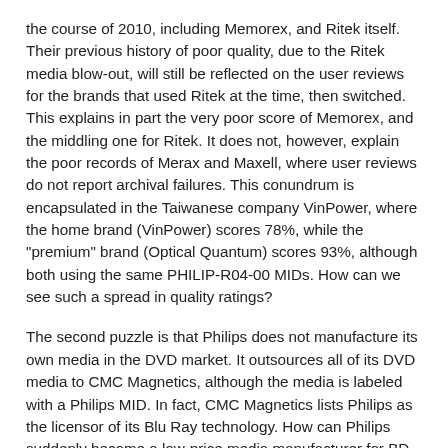the course of 2010, including Memorex, and Ritek itself. Their previous history of poor quality, due to the Ritek media blow-out, will still be reflected on the user reviews for the brands that used Ritek at the time, then switched. This explains in part the very poor score of Memorex, and the middling one for Ritek. It does not, however, explain the poor records of Merax and Maxell, where user reviews do not report archival failures. This conundrum is encapsulated in the Taiwanese company VinPower, where the home brand (VinPower) scores 78%, while the "premium" brand (Optical Quantum) scores 93%, although both using the same PHILIP-R04-00 MIDs. How can we see such a spread in quality ratings?
The second puzzle is that Philips does not manufacture its own media in the DVD market. It outsources all of its DVD media to CMC Magnetics, although the media is labeled with a Philips MID. In fact, CMC Magnetics lists Philips as the licensor of its Blu Ray technology. How can Philips suddenly become a low-price media manufacturer for BD-Rs, when it does not appear to have existing manufacturing expertise for other media, and when it outsources its own DVD media to